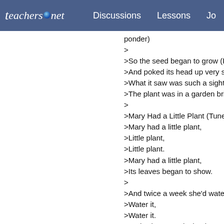teachers.net  Discussions  Lessons  Jo
ponder)
>
>So the seed began to grow (Prete
>And poked its head up very slow
>What it saw was such a sight (Ru
>The plant was in a garden bright
>
>Mary Had a Little Plant (Tune of:
>Mary had a little plant,
>Little plant,
>Little plant.
>Mary had a little plant,
>Its leaves began to show.
>
>And twice a week she'd water it,
>Water it,
>Water it.
>And twice a week she'd water it,
>The plant was sure to grow.
>